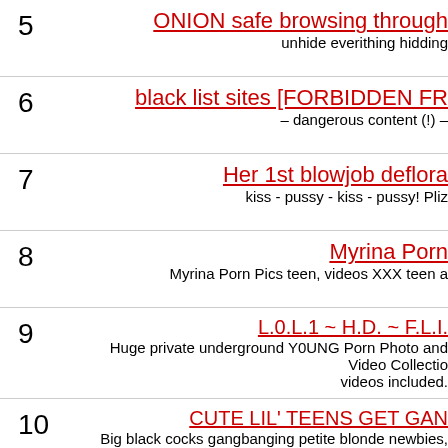5 | ONION safe browsing through... | unhide everithing hidding...
6 | black list sites [FORBIDDEN FR... | – dangerous content (!) –
7 | Her 1st blowjob deflora... | kiss - pussy - kiss - pussy! Pliz...
8 | Myrina Porn | Myrina Porn Pics teen, videos XXX teen a...
9 | L.0.L.1 ~ H.D. ~ F.L.I... | Huge private underground Y0UNG Porn Photo and Video Collectio... videos included.
10 | CUTE LIL' TEENS GET GAN... | Big black cocks gangbanging petite blonde newbies, sloppy vagi... eat cum from their own tight assholes and shaved cunts, FR...
11 | Teen Porn - Free Adult... | Free porn samples of pay XXX sites and big coll...